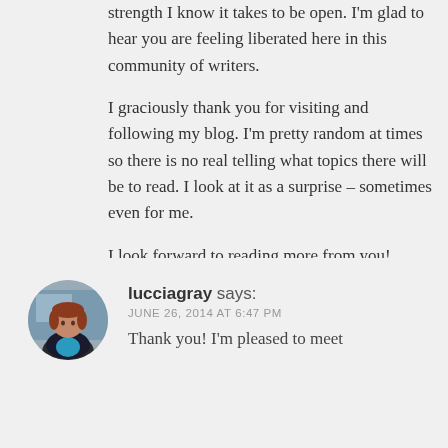strength I know it takes to be open. I'm glad to hear you are feeling liberated here in this community of writers.
I graciously thank you for visiting and following my blog. I'm pretty random at times so there is no real telling what topics there will be to read. I look at it as a surprise – sometimes even for me.
I look forward to reading more from you!
★ Like
lucciagray says:
JUNE 26, 2014 AT 6:47 PM
Thank you! I'm pleased to meet...